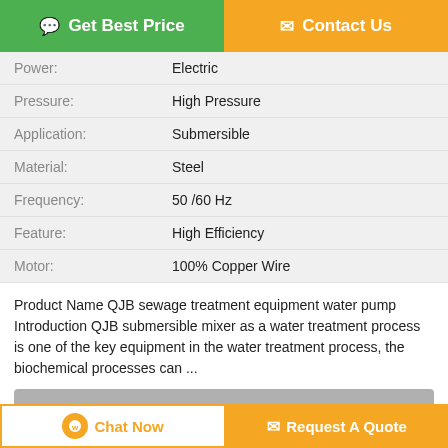| Property | Value |
| --- | --- |
| Power: | Electric |
| Pressure: | High Pressure |
| Application: | Submersible |
| Material: | Steel |
| Frequency: | 50 /60 Hz |
| Feature: | High Efficiency |
| Motor: | 100% Copper Wire |
Product Name QJB sewage treatment equipment water pump Introduction QJB submersible mixer as a water treatment process is one of the key equipment in the water treatment process, the biochemical processes can ...
Product Description >
Get the Best Price for
QJB sewage treatment equipment